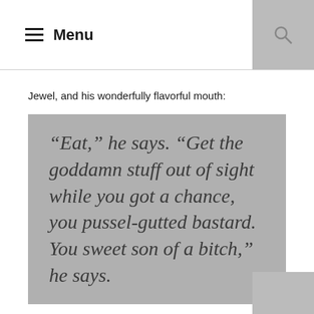Menu
Jewel, and his wonderfully flavorful mouth:
“Eat,” he says. “Get the goddamn stuff out of sight while you got a chance, you pussel-gutted bastard. You sweet son of a bitch,” he says.
More Jewel, the only character to show true agony at the suffering of his mother (though she is later proved to be no angel herself):